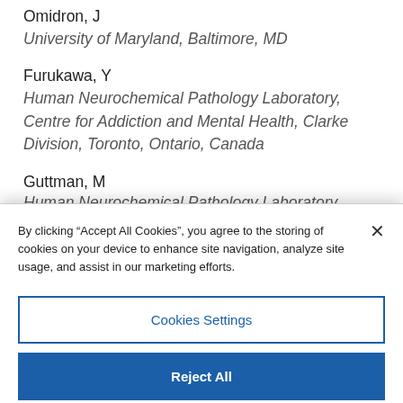Omidron, J
University of Maryland, Baltimore, MD
Furukawa, Y
Human Neurochemical Pathology Laboratory, Centre for Addiction and Mental Health, Clarke Division, Toronto, Ontario, Canada
Guttman, M
Human Neurochemical Pathology Laboratory, Centre for
By clicking “Accept All Cookies”, you agree to the storing of cookies on your device to enhance site navigation, analyze site usage, and assist in our marketing efforts.
Cookies Settings
Reject All
Accept All Cookies